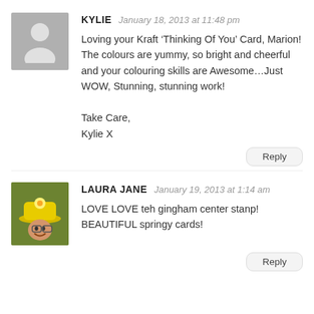[Figure (illustration): Gray placeholder avatar with white silhouette of a person]
KYLIE   January 18, 2013 at 11:48 pm
Loving your Kraft ‘Thinking Of You’ Card, Marion! The colours are yummy, so bright and cheerful and your colouring skills are Awesome…Just WOW, Stunning, stunning work!

Take Care,
Kylie X
Reply
[Figure (photo): Photo of Laura Jane wearing a yellow hat, smiling outdoors]
LAURA JANE   January 19, 2013 at 1:14 am
LOVE LOVE teh gingham center stanp! BEAUTIFUL springy cards!
Reply